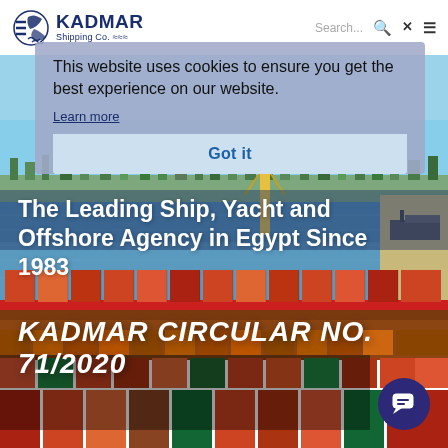KADMAR Shipping Co.
This website uses cookies to ensure you get the best experience on our website.
Learn more
Got it
[Figure (photo): Aerial/side view of the Suez Canal with a large container ship loaded with orange and red shipping containers in the foreground, waterway and green shoreline in background, crane visible]
The Leading Ship, Yacht and Offshore Agency in Egypt Since 1983
KADMAR CIRCULAR NO. 71/2020